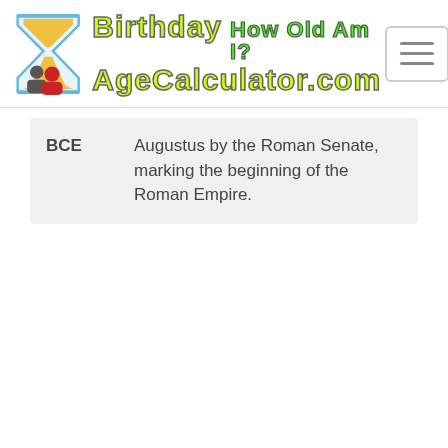Birthday How Old Am I? AgeCalculator.com
| BCE | Augustus by the Roman Senate, marking the beginning of the Roman Empire. |